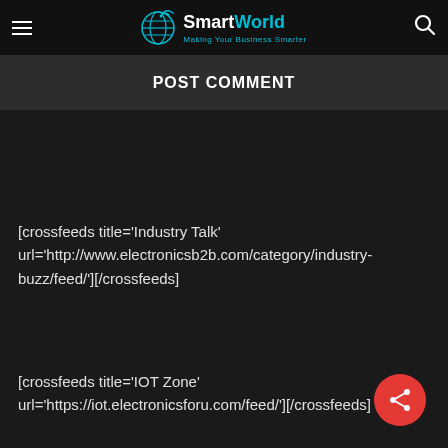SmartWorld — Making Your Business Smarter
POST COMMENT
[crossfeeds title='Industry Talk' url='http://www.electronicsb2b.com/category/industry-buzz/feed/'][/crossfeeds]
[crossfeeds title='IOT Zone' url='https://iot.electronicsforu.com/feed/'][/crossfeeds]